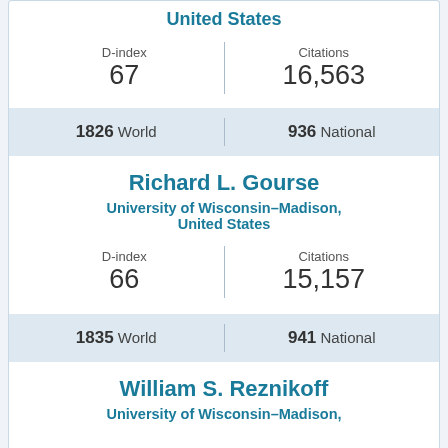United States
| D-index | Citations |
| --- | --- |
| 67 | 16,563 |
1826 World | 936 National
Richard L. Gourse
University of Wisconsin–Madison, United States
| D-index | Citations |
| --- | --- |
| 66 | 15,157 |
1835 World | 941 National
William S. Reznikoff
University of Wisconsin–Madison,